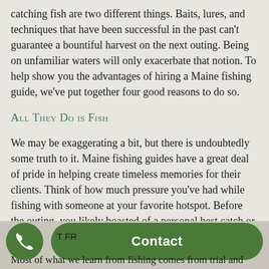catching fish are two different things. Baits, lures, and techniques that have been successful in the past can't guarantee a bountiful harvest on the next outing. Being on unfamiliar waters will only exacerbate that notion. To help show you the advantages of hiring a Maine fishing guide, we've put together four good reasons to do so.
All They Do is Fish
We may be exaggerating a bit, but there is undoubtedly some truth to it. Maine fishing guides have a great deal of pride in helping create timeless memories for their clients. Think of how much pressure you've had while fishing with someone at your favorite hotspot. Before the outing, you likely boasted of a personal best catch or a max limit. However, once you got them in your boat, the pressure was on to recreate your epic day on the water. Fishing with a guide takes all that pressure away.
Most of what we learn from fishing comes from trial and